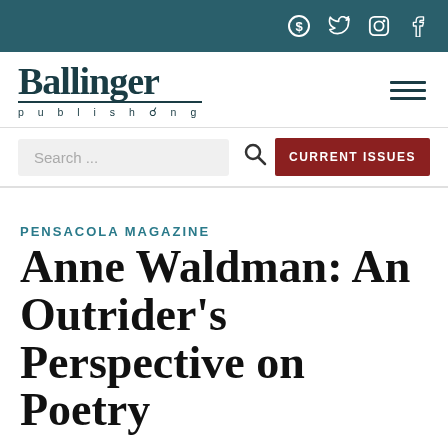Ballinger Publishing — top navigation bar with social icons
[Figure (logo): Ballinger Publishing logo — large serif 'Ballinger' text above 'p u b l i s h i n g' in spaced capitals with anchor icon]
PENSACOLA MAGAZINE
Anne Waldman: An Outrider's Perspective on Poetry